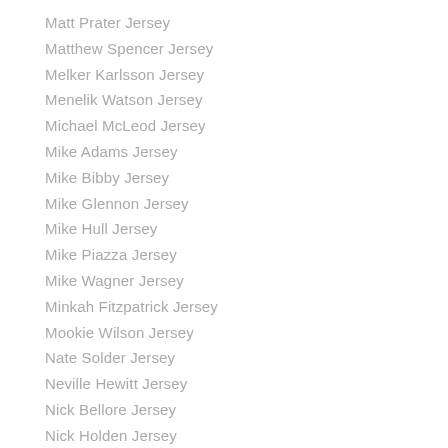Matt Prater Jersey
Matthew Spencer Jersey
Melker Karlsson Jersey
Menelik Watson Jersey
Michael McLeod Jersey
Mike Adams Jersey
Mike Bibby Jersey
Mike Glennon Jersey
Mike Hull Jersey
Mike Piazza Jersey
Mike Wagner Jersey
Minkah Fitzpatrick Jersey
Mookie Wilson Jersey
Nate Solder Jersey
Neville Hewitt Jersey
Nick Bellore Jersey
Nick Holden Jersey
Orlando Cepeda Jersey